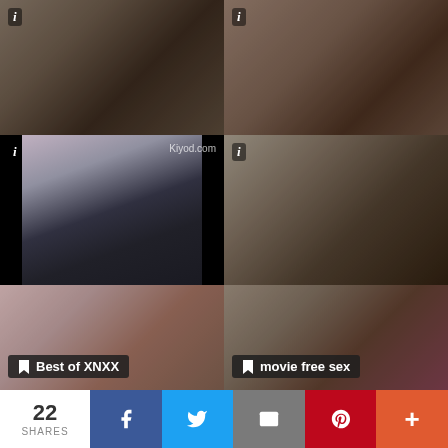[Figure (photo): Video thumbnail grid cell 1 - top left video thumbnail]
[Figure (photo): Video thumbnail grid cell 2 - top right video thumbnail]
[Figure (photo): Video thumbnail grid cell 3 - middle left with watermark Kiyod.com]
[Figure (photo): Video thumbnail grid cell 4 - middle right video thumbnail]
[Figure (photo): Video thumbnail grid cell 5 - lower left with label Best of XNXX]
[Figure (photo): Video thumbnail grid cell 6 - lower right with label movie free sex]
[Figure (photo): Video thumbnail grid cell 7 - bottom left partial with label xxx video]
[Figure (photo): Video thumbnail grid cell 8 - bottom right partial with label hot-xxx.net]
22 SHARES
f (Facebook share button)
Twitter share button
Email share button
Pinterest share button
+ (More share button)